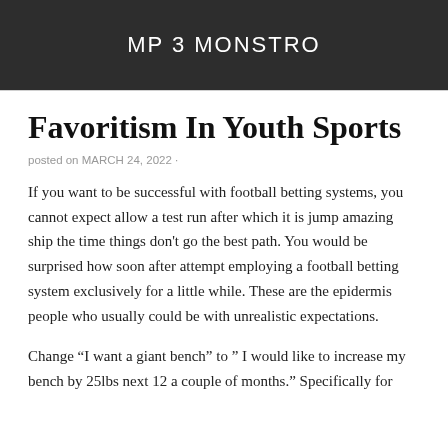MP 3 MONSTRO
Favoritism In Youth Sports
posted on MARCH 24, 2022 ·
If you want to be successful with football betting systems, you cannot expect allow a test run after which it is jump amazing ship the time things don't go the best path. You would be surprised how soon after attempt employing a football betting system exclusively for a little while. These are the epidermis people who usually could be with unrealistic expectations.
Change “I want a giant bench” to “ I would like to increase my bench by 25lbs next 12 a couple of months.” Specifically for